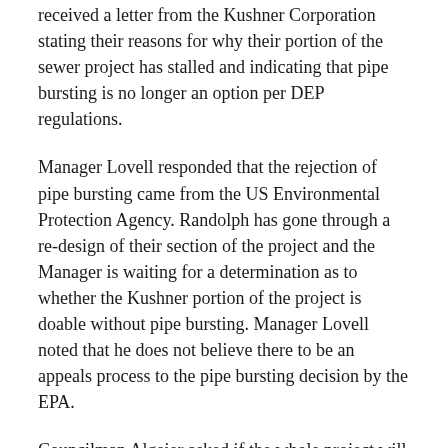received a letter from the Kushner Corporation stating their reasons for why their portion of the sewer project has stalled and indicating that pipe bursting is no longer an option per DEP regulations.
Manager Lovell responded that the rejection of pipe bursting came from the US Environmental Protection Agency. Randolph has gone through a re-design of their section of the project and the Manager is waiting for a determination as to whether the Kushner portion of the project is doable without pipe bursting. Manager Lovell noted that he does not believe there to be an appeals process to the pipe bursting decision by the EPA.
Councilman Algeier asked if the whole project will have to be re-designed.
Manager Lovell responded that re-designing the entire project is a possibility. No meeting has taken place with the Kushner Corporation yet to determine how the pipe